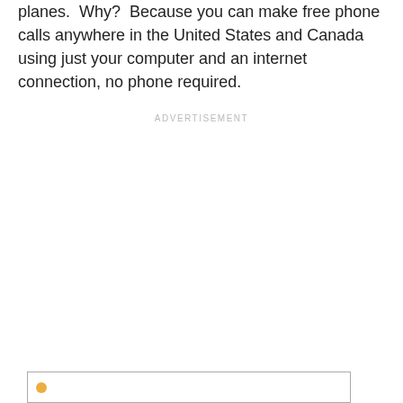planes.  Why?  Because you can make free phone calls anywhere in the United States and Canada using just your computer and an internet connection, no phone required.
ADVERTISEMENT
[Figure (other): Advertisement placeholder box with icon at bottom of page]